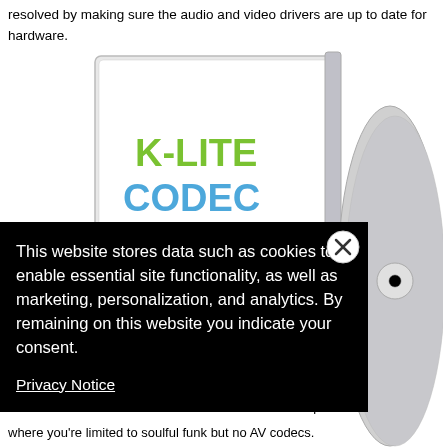resolved by making sure the audio and video drivers are up to date for hardware.
[Figure (photo): K-Lite Codec Pack product image showing a CD case with green and blue logo on white background alongside a CD disc]
[Figure (screenshot): Cookie consent overlay dialog with black background. Text: 'This website stores data such as cookies to enable essential site functionality, as well as marketing, personalization, and analytics. By remaining on this website you indicate your consent.' with a Privacy Notice link and close button (X)]
pdated audio and . The K-Lite Code nfuse this pack wit
where you're limited to soulful funk but no AV codecs.